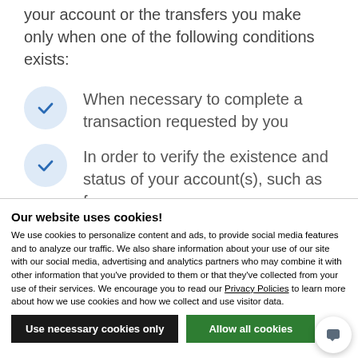your account or the transfers you make only when one of the following conditions exists:
When necessary to complete a transaction requested by you
In order to verify the existence and status of your account(s), such as for a
Our website uses cookies!
We use cookies to personalize content and ads, to provide social media features and to analyze our traffic. We also share information about your use of our site with our social media, advertising and analytics partners who may combine it with other information that you've provided to them or that they've collected from your use of their services. We encourage you to read our Privacy Policies to learn more about how we use cookies and how we collect and use visitor data.
Use necessary cookies only | Allow all cookies | Show